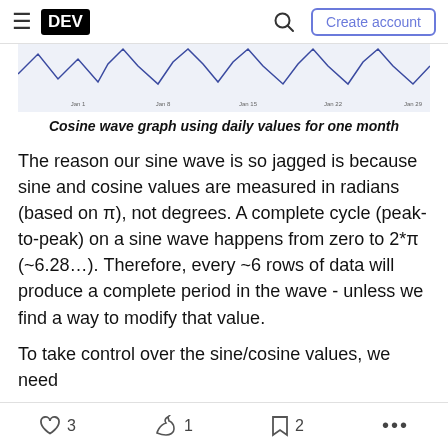DEV — Create account
[Figure (continuous-plot): Partial cosine wave graph showing jagged daily values for one month, cropped at top of view. Light blue/lavender background with dark blue line graph showing multiple peaks.]
Cosine wave graph using daily values for one month
The reason our sine wave is so jagged is because sine and cosine values are measured in radians (based on π), not degrees. A complete cycle (peak-to-peak) on a sine wave happens from zero to 2*π (~6.28…). Therefore, every ~6 rows of data will produce a complete period in the wave - unless we find a way to modify that value.
To take control over the sine/cosine values, we need
♡ 3   1   ☐ 2   ...